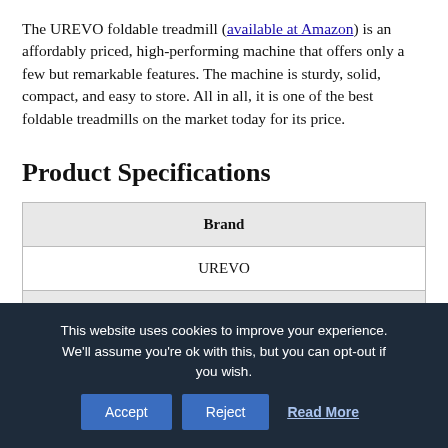The UREVO foldable treadmill (available at Amazon) is an affordably priced, high-performing machine that offers only a few but remarkable features. The machine is sturdy, solid, compact, and easy to store. All in all, it is one of the best foldable treadmills on the market today for its price.
Product Specifications
| Brand |
| --- |
| UREVO |
| Dimensions |
This website uses cookies to improve your experience. We'll assume you're ok with this, but you can opt-out if you wish. Accept Reject Read More